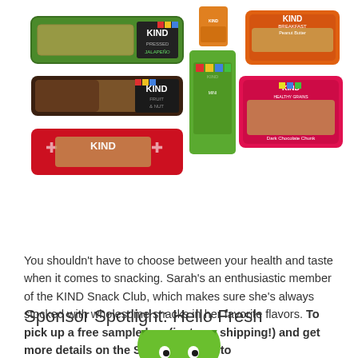[Figure (photo): Collection of KIND snack bars and products including KIND Pressed Jalapeño bar, KIND Breakfast Peanut Butter bar, KIND Fruit & Nut bar, KIND Mini bars, KIND Dark Chocolate Chunk Healthy Grains bar, and other KIND products arranged in a display.]
You shouldn't have to choose between your health and taste when it comes to snacking. Sarah's an enthusiastic member of the KIND Snack Club, which makes sure she's always stocked with wholesome snacks in her favorite flavors. To pick up a free sample box (just pay shipping!) and get more details on the Snack Club, go to KindSnacks.com/mom.
Sponsor Spotlight: Hello Fresh
[Figure (logo): Hello Fresh green mascot/logo partially visible at bottom of page]